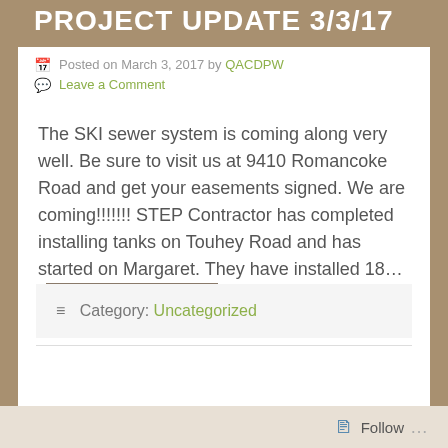PROJECT UPDATE 3/3/17
Posted on March 3, 2017 by QACDPW
Leave a Comment
The SKI sewer system is coming along very well. Be sure to visit us at 9410 Romancoke Road and get your easements signed. We are coming!!!!!!! STEP Contractor has completed installing tanks on Touhey Road and has started on Margaret. They have installed 18…
Category: Uncategorized
Follow